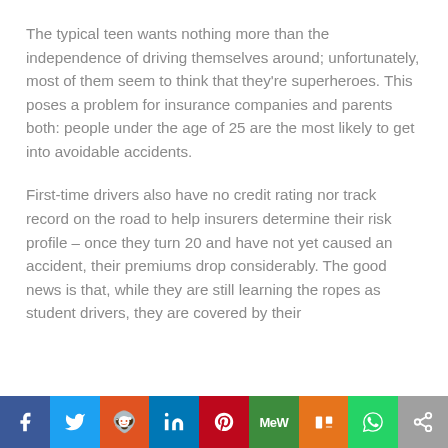The typical teen wants nothing more than the independence of driving themselves around; unfortunately, most of them seem to think that they're superheroes. This poses a problem for insurance companies and parents both: people under the age of 25 are the most likely to get into avoidable accidents.
First-time drivers also have no credit rating nor track record on the road to help insurers determine their risk profile – once they turn 20 and have not yet caused an accident, their premiums drop considerably. The good news is that, while they are still learning the ropes as student drivers, they are covered by their
Social share bar: Facebook, Twitter, Reddit, LinkedIn, Pinterest, MeWe, Mix, WhatsApp, Share